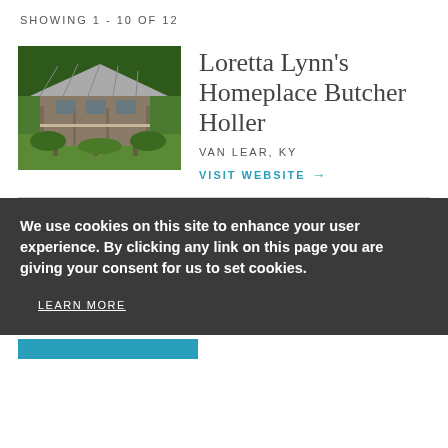SHOWING 1 - 10 OF 12
[Figure (photo): Old wooden farmhouse with a covered porch, surrounded by green trees and grass — Loretta Lynn's Homeplace at Butcher Holler, Van Lear, KY]
Loretta Lynn's Homeplace Butcher Holler
VAN LEAR, KY
VISIT WEBSITE →
We use cookies on this site to enhance your user experience. By clicking any link on this page you are giving your consent for us to set cookies.
LEARN MORE